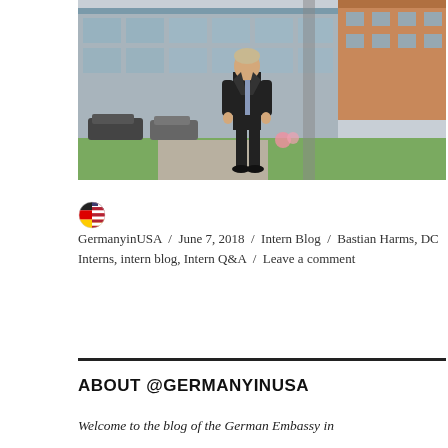[Figure (photo): A man in a dark suit and blue tie standing outdoors in front of a modern building with glass windows and parked cars in the background, on a green lawn.]
GermanyinUSA / June 7, 2018 / Intern Blog / Bastian Harms, DC Interns, intern blog, Intern Q&A / Leave a comment
ABOUT @GERMANYINUSA
Welcome to the blog of the German Embassy in